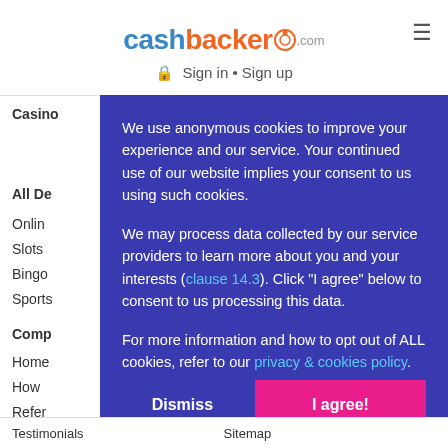[Figure (logo): Cashbacker.com logo with orange C icon]
Sign in • Sign up
Casino
All De
Onlin
Slots
Bingo
Sports
Comp
Home
How
Refer
We use anonymous cookies to improve your experience and our service. Your continued use of our website implies your consent to us using such cookies.

We may process data collected by our service providers to learn more about you and your interests (clause 14.3). Click "I agree" below to consent to us processing this data.

For more information and how to opt out of ALL cookies, refer to our privacy & cookies policy.
Dismiss
I agree!
Testimonials   Sitemap